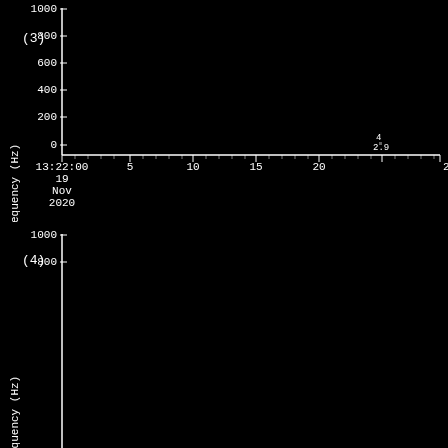[Figure (continuous-plot): Spectrogram plot (3) showing Frequency (Hz) on y-axis (0-1000) vs time on x-axis starting at 13:22:00, 19 Nov 2020. A faint signal appears near x=22, with annotation '4' and '2.9'. Mostly black background indicating no signal.]
[Figure (continuous-plot): Spectrogram plot (4) showing Frequency (Hz) on y-axis (0-1000+) vs time. Bottom portion of page cut off. Mostly black background.]